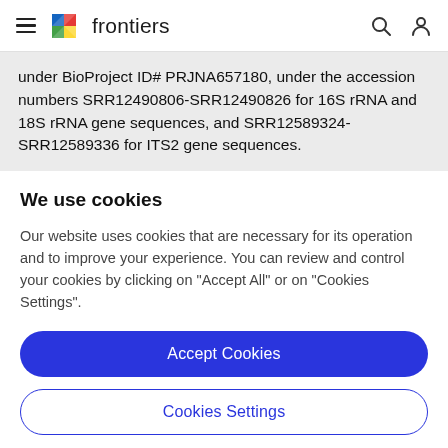frontiers
under BioProject ID# PRJNA657180, under the accession numbers SRR12490806-SRR12490826 for 16S rRNA and 18S rRNA gene sequences, and SRR12589324-SRR12589336 for ITS2 gene sequences.
We use cookies
Our website uses cookies that are necessary for its operation and to improve your experience. You can review and control your cookies by clicking on "Accept All" or on "Cookies Settings".
Accept Cookies
Cookies Settings